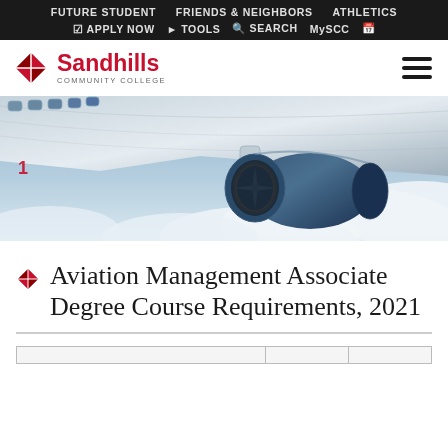FUTURE STUDENT   FRIENDS & NEIGHBORS   ATHLETICS   ☑ APPLY NOW  ▶ TOOLS  🔍 SEARCH  MySCC  📅
[Figure (logo): Sandhills Community College logo with red diamond-shaped icon and red/black text reading 'Sandhills COMMUNITY COLLEGE']
[Figure (photo): Close-up photograph of a commercial airplane engine and wing against a blue sky with clouds]
Aviation Management Associate Degree Course Requirements, 2021
|  |